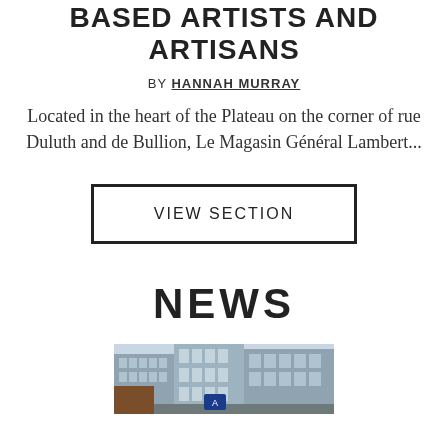BASED ARTISTS AND ARTISANS
BY HANNAH MURRAY
Located in the heart of the Plateau on the corner of rue Duluth and de Bullion, Le Magasin Général Lambert...
VIEW SECTION
NEWS
[Figure (photo): Photo of urban buildings and cityscape]